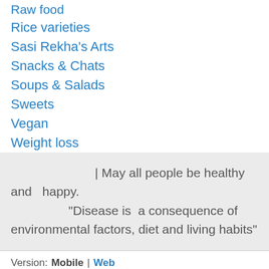Raw food
Rice varieties
Sasi Rekha's Arts
Snacks & Chats
Soups & Salads
Sweets
Vegan
Weight loss
| May all people be healthy and   happy.
"Disease is  a consequence of environmental factors, diet and living habits"
Version:  Mobile | Web